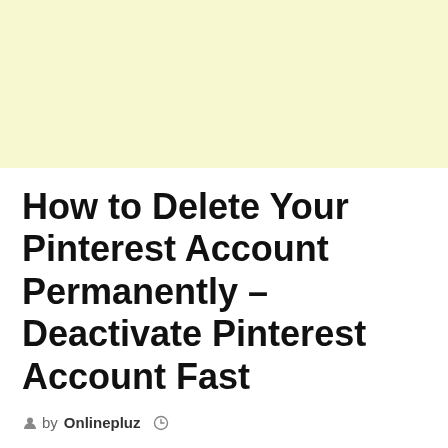[Figure (other): Light yellow banner/advertisement block at the top of the page]
How to Delete Your Pinterest Account Permanently – Deactivate Pinterest Account Fast
by Onlinepluz